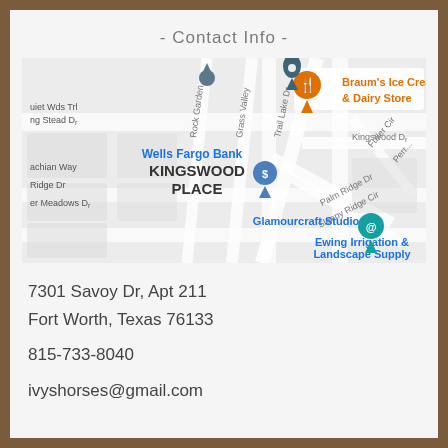- Contact Info -
[Figure (map): Google Maps screenshot showing the Kingswood Place area in Fort Worth, Texas, with landmarks including Wells Fargo Bank, Braum's Ice Cream & Dairy Store, Glamourcraft Studio, and Ewing Irrigation & Landscape Supply. Streets visible include Trail Lake Dr, Rock Garden, Grass Valley, Palm Ridge Dr, Sleepy Ridge Cir, Fuller Cir, Kingswood Dr.]
7301 Savoy Dr, Apt 211
Fort Worth, Texas 76133
815-733-8040
ivyshorses@gmail.com